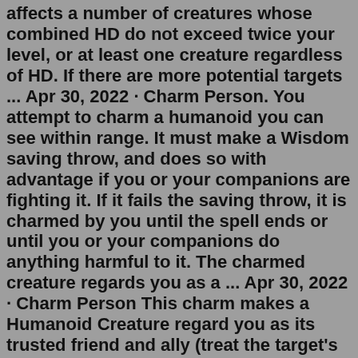affects a number of creatures whose combined HD do not exceed twice your level, or at least one creature regardless of HD. If there are more potential targets ... Apr 30, 2022 · Charm Person. You attempt to charm a humanoid you can see within range. It must make a Wisdom saving throw, and does so with advantage if you or your companions are fighting it. If it fails the saving throw, it is charmed by you until the spell ends or until you or your companions do anything harmful to it. The charmed creature regards you as a ... Apr 30, 2022 · Charm Person This charm makes a Humanoid Creature regard you as its trusted friend and ally (treat the target's attitude as friendly). If the Creature is currently being threatened or attacked by you or your allies, however, it receives a +5 bonus on its Saving Throw. 5e SRD:Charm Person. You attempt to charm a humanoid you can see within range. It must make a Wisdom saving throw, and does so with advantage if you or your companions are fighting it. If it fails the saving throw, it is charmed by you until the spell ends or until you